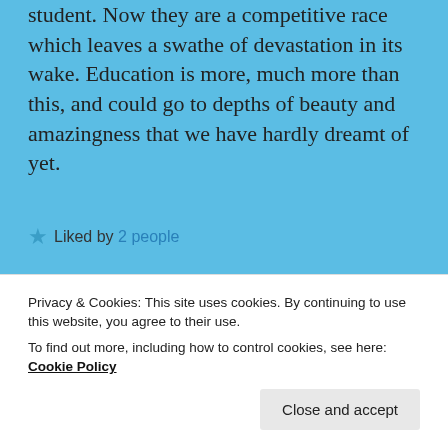student. Now they are a competitive race which leaves a swathe of devastation in its wake. Education is more, much more than this, and could go to depths of beauty and amazingness that we have hardly dreamt of yet.
★ Liked by 2 people
REPLY
[Figure (photo): Circular avatar photo showing a pink flower or rose-like image]
NATASA BEBICH
Privacy & Cookies: This site uses cookies. By continuing to use this website, you agree to their use.
To find out more, including how to control cookies, see here: Cookie Policy
Close and accept